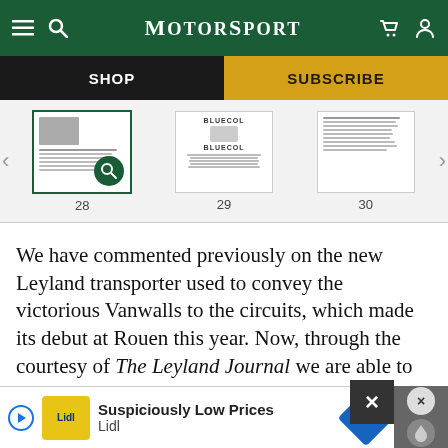MotorSport
[Figure (screenshot): Navigation bar with SHOP and SUBSCRIBE buttons and three page thumbnails numbered 28, 29, 30]
We have commented previously on the new Leyland transporter used to convey the victorious Vanwalls to the circuits, which made its debut at Rouen this year. Now, through the courtesy of The Leyland Journal we are able to give further details. On its return from Casablanca, this Leyland Royal Tiger
[Figure (screenshot): Lidl advertisement banner: Suspiciously Low Prices / Lidl with navigation arrow icon and close buttons]